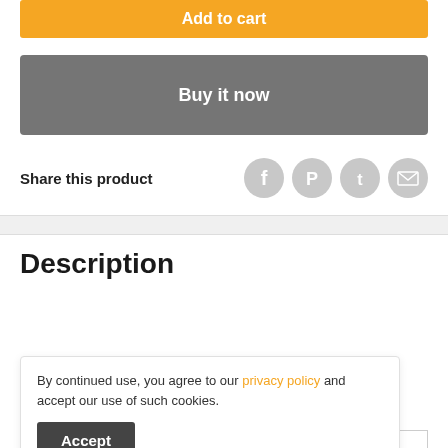Add to cart
Buy it now
Share this product
Description
|  | Features |
| --- | --- |
|  | 1. Multi-directional Lighting with Spot Beam Angl |
| Features | 2. Good Color Rendering at CRI 80 |
By continued use, you agree to our privacy policy and accept our use of such cookies.
Accept